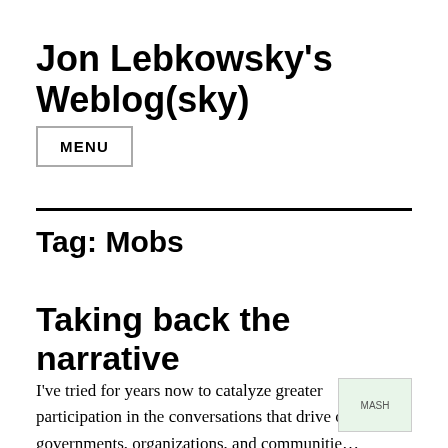Jon Lebkowsky's Weblog(sky)
MENU
Tag: Mobs
Taking back the narrative
I've tried for years now to catalyze greater participation in the conversations that drive our governments, organizations, and communities.
[Figure (photo): MASH image thumbnail]